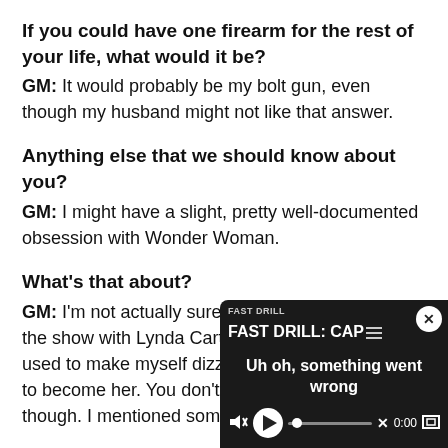If you could have one firearm for the rest of your life, what would it be? GM: It would probably be my bolt gun, even though my husband might not like that answer.
Anything else that we should know about you? GM: I might have a slight, pretty well-documented obsession with Wonder Woman.
What's that about? GM: I'm not actually sure how this started. I loved the show with Lynda Carte[r…] used to make myself dizzy[…] to become her. You don't h[…] though. I mentioned some[…]
[Figure (screenshot): A video player overlay showing an error state: 'FAST DRILL: CAP' as title, 'Uh oh, something went wrong' as error message, with playback controls showing 0:00, a mute icon, X button, and expand button. A close (x) button is in the top right corner.]